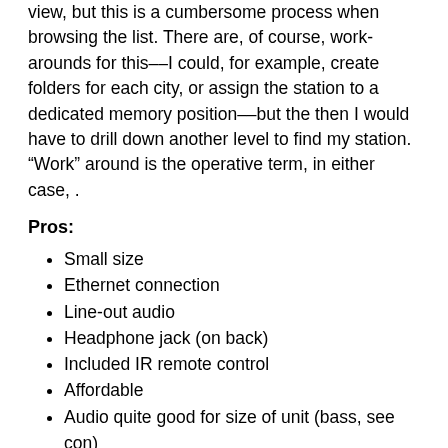view, but this is a cumbersome process when browsing the list. There are, of course, work-arounds for this––I could, for example, create folders for each city, or assign the station to a dedicated memory position––but the then I would have to drill down another level to find my station. “Work” around is the operative term, in either case, .
Pros:
Small size
Ethernet connection
Line-out audio
Headphone jack (on back)
Included IR remote control
Affordable
Audio quite good for size of unit (bass, see con)
Extras include:
Pandora connect
Live365 (now defunct)